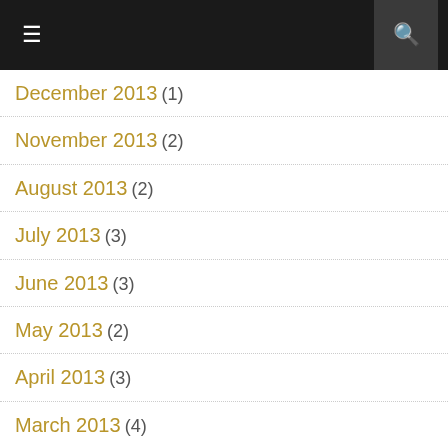Navigation header with menu and search icons
December 2013 (1)
November 2013 (2)
August 2013 (2)
July 2013 (3)
June 2013 (3)
May 2013 (2)
April 2013 (3)
March 2013 (4)
February 2013 (2)
January 2013 (2)
December 2012 (4)
November 2012 (4)
October 2012 (5)